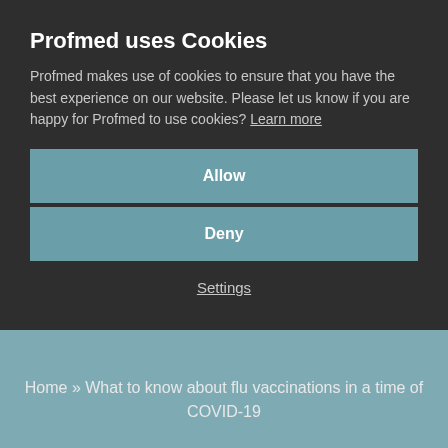Profmed uses Cookies
Profmed makes use of cookies to ensure that you have the best experience on our website. Please let us know if you are happy for Profmed to use cookies? Learn more
Allow
Deny
Settings
Home » What to know about flu vaccinations in a time of COVID-19